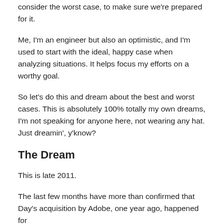consider the worst case, to make sure we're prepared for it.
Me, I'm an engineer but also an optimistic, and I'm used to start with the ideal, happy case when analyzing situations. It helps focus my efforts on a worthy goal.
So let's do this and dream about the best and worst cases. This is absolutely 100% totally my own dreams, I'm not speaking for anyone here, not wearing any hat. Just dreamin', y'know?
The Dream
This is late 2011.
The last few months have more than confirmed that Day's acquisition by Adobe, one year ago, happened for